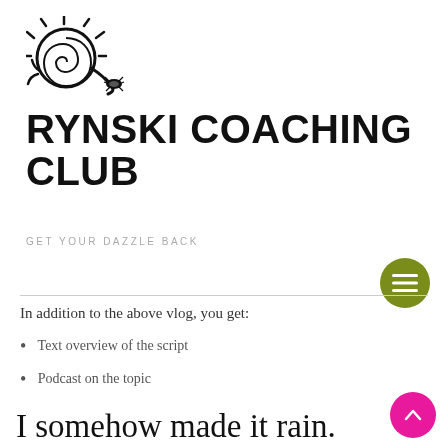[Figure (logo): Rynski Coaching Club logo: a spiral snail shell with sun rays and a small beetle, in black line art style]
RYNSKI COACHING CLUB
GET YOUR DAZZLE BACK
In addition to the above vlog, you get:
Text overview of the script
Podcast on the topic
I somehow made it rain.